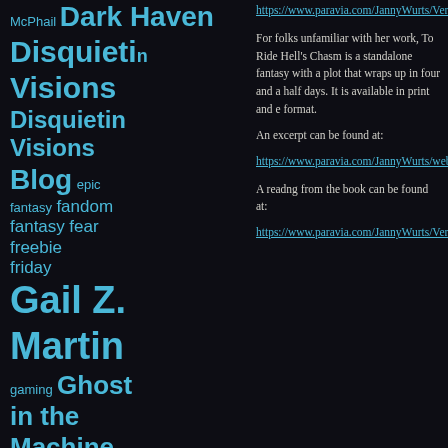McPhail Dark Haven Disquieting Visions Disquieting Visions Blog epic fantasy fandom fantasy fear freebie friday Gail Z. Martin gaming Ghost in the Machine holiday celebrations Ice Forged James Maxey J F Lewis
https://www.paravia.com/JannyWurts/Version3/Audio/Readings.html
For folks unfamiliar with her work, To Ride Hell's Chasm is a standalone fantasy with a plot that wraps up in four and a half days. It is available in print and e format.
An excerpt can be found at:
https://www.paravia.com/JannyWurts/website/Excerpts/ToRideHellsChasmExcerpt.html
A readng from the book can be found at:
https://www.paravia.com/JannyWurts/Version3/Audio/Readings.html